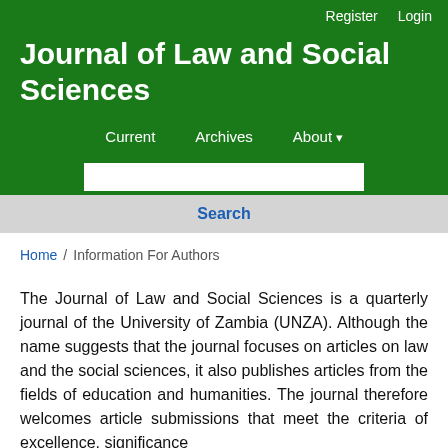Register  Login
Journal of Law and Social Sciences
Current   Archives   About
Home / Information For Authors
The Journal of Law and Social Sciences is a quarterly journal of the University of Zambia (UNZA). Although the name suggests that the journal focuses on articles on law and the social sciences, it also publishes articles from the fields of education and humanities. The journal therefore welcomes article submissions that meet the criteria of excellence, significance